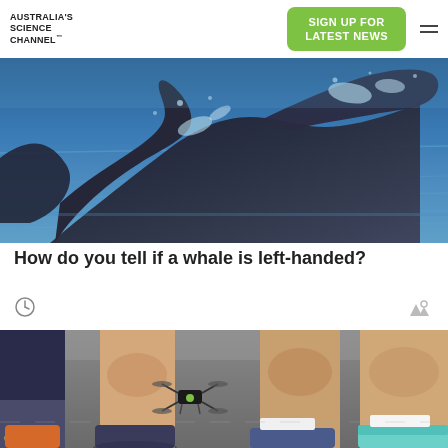AUSTRALIA'S SCIENCE CHANNEL™
SIGN UP FOR LATEST NEWS
[Figure (photo): A whale tail (fluke) emerging from the ocean water with splashing water droplets around it.]
How do you tell if a whale is left-handed?
[Figure (photo): Legs of runners on a road with a small drone on the ground between them, showing running shoes. Australia's Science Channel logo visible in top left.]